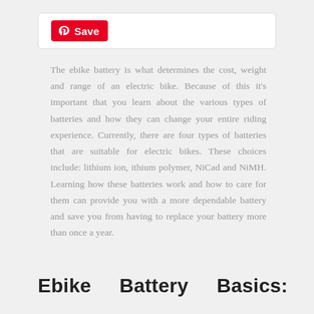[Figure (other): Pinterest Save button inside a rounded rectangle input/bar]
The ebike battery is what determines the cost, weight and range of an electric bike. Because of this it's important that you learn about the various types of batteries and how they can change your entire riding experience. Currently, there are four types of batteries that are suitable for electric bikes. These choices include: lithium ion, ithium polymer, NiCad and NiMH. Learning how these batteries work and how to care for them can provide you with a more dependable battery and save you from having to replace your battery more than once a year.
Ebike   Battery   Basics: